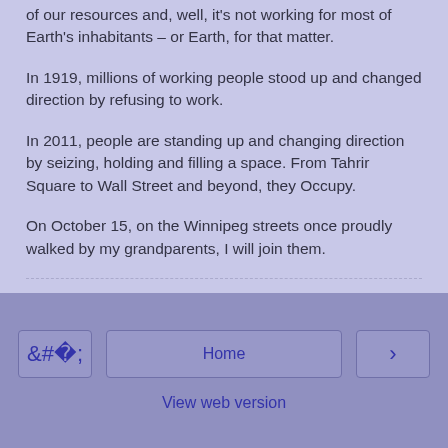of our resources and, well, it's not working for most of Earth's inhabitants – or Earth, for that matter.

In 1919, millions of working people stood up and changed direction by refusing to work.

In 2011, people are standing up and changing direction by seizing, holding and filling a space.  From Tahrir Square to Wall Street and beyond, they Occupy.

On October 15, on the Winnipeg streets once proudly walked by my grandparents, I will join them.
Sallie Caufield at 18:46    No comments:
Share
‹   Home   ›   View web version